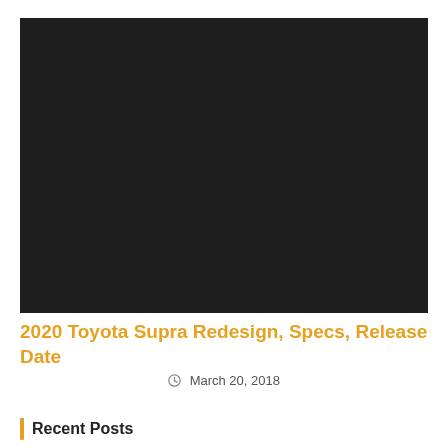[Figure (photo): Large black/dark image placeholder for a car photo]
2020 Toyota Supra Redesign, Specs, Release Date
March 20, 2018
Recent Posts